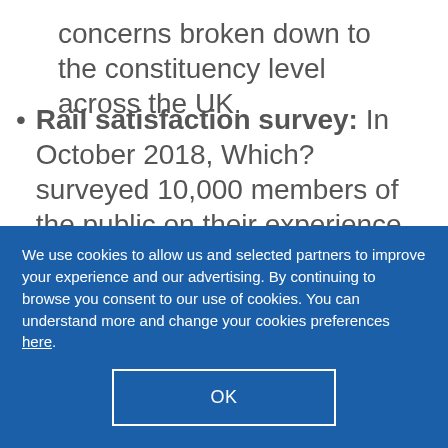concerns broken down to the constituency level across the UK.
Rail satisfaction survey: In October 2018, Which? surveyed 10,000 members of the public on their experience travelling with UK train operators.
Energy Company satisfaction survey:
We use cookies to allow us and selected partners to improve your experience and our advertising. By continuing to browse you consent to our use of cookies. You can understand more and change your cookies preferences here.